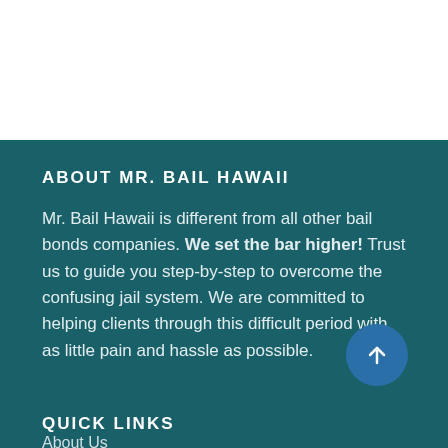ABOUT MR. BAIL HAWAII
Mr. Bail Hawaii is different from all other bail bonds companies. We set the bar higher! Trust us to guide you step-by-step to overcome the confusing jail system. We are committed to helping clients through this difficult period with as little pain and hassle as possible.
QUICK LINKS
About Us